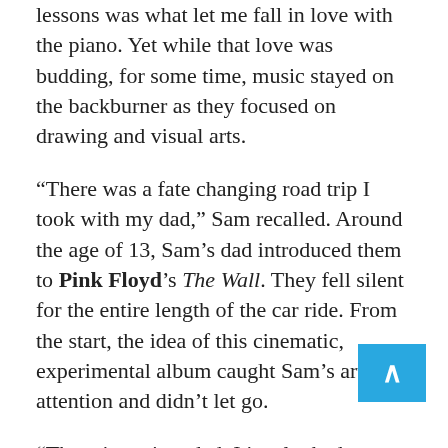lessons was what let me fall in love with the piano. Yet while that love was budding, for some time, music stayed on the backburner as they focused on drawing and visual arts.
“There was a fate changing road trip I took with my dad,” Sam recalled. Around the age of 13, Sam’s dad introduced them to Pink Floyd’s The Wall. They fell silent for the entire length of the car ride. From the start, the idea of this cinematic, experimental album caught Sam’s artistic attention and didn’t let go.
“The minute it ended, I just looked at my dad and said, can we listen to that again?”  And there started an obsession with the band that elevated music from a hobby to something far more potent. For their 17th birthday, Sam’s father got them Ableton Intro—a software for everything from sound...